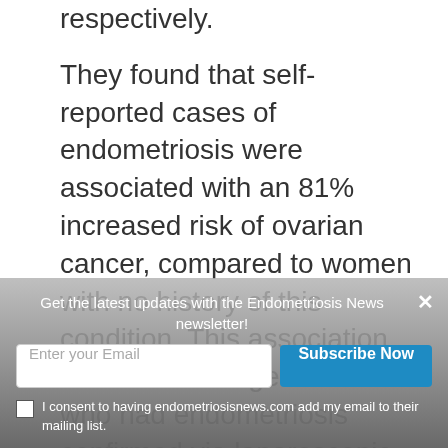...% and 31.7% of the eligible women, respectively.
They found that self-reported cases of endometriosis were associated with an 81% increased risk of ovarian cancer, compared to women with no history of this condition. This association was even stronger in women who had endometriosis confirmed via laparoscopic surgery, with 114% increased risk to develop ovarian cancer.
Get the latest updates with the Endometriosis News newsletter!
Enter your Email
Subscribe Now
I consent to having endometriosisnews.com add my email to their mailing list.